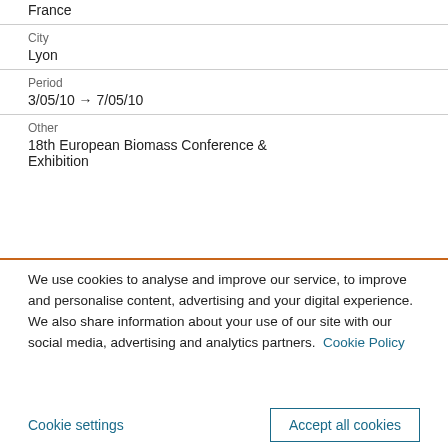France
City
Lyon
Period
3/05/10 → 7/05/10
Other
18th European Biomass Conference & Exhibition
We use cookies to analyse and improve our service, to improve and personalise content, advertising and your digital experience. We also share information about your use of our site with our social media, advertising and analytics partners. Cookie Policy
Cookie settings
Accept all cookies